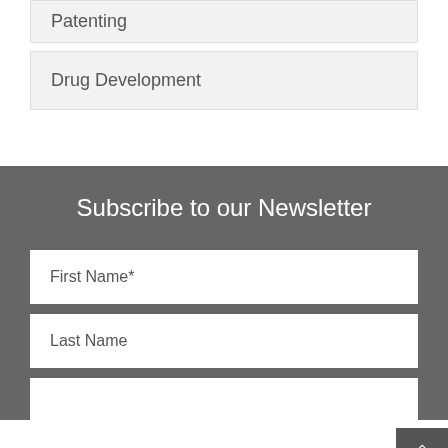Patenting
Drug Development
Subscribe to our Newsletter
First Name*
Last Name